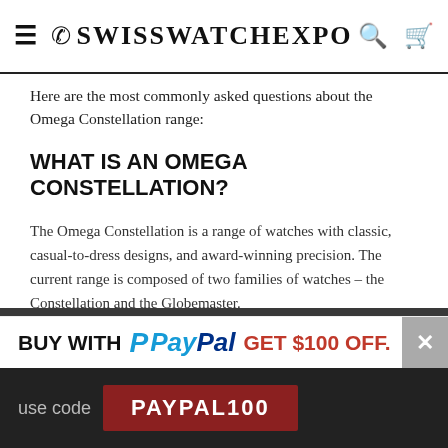SwissWatchExpo
Here are the most commonly asked questions about the Omega Constellation range:
WHAT IS AN OMEGA CONSTELLATION?
The Omega Constellation is a range of watches with classic, casual-to-dress designs, and award-winning precision. The current range is composed of two families of watches – the Constellation and the Globemaster.
The Omega Constellation is characterized by its "half moon" case and claws on the 3 and 9 o'clock position.
Meanwhile, the Omega Globemaster is a cushion-shaped watch that pays homage to mid-century watch design, particularly the "pie-pan" dial
BUY WITH PayPal GET $100 OFF.
use code PAYPAL100